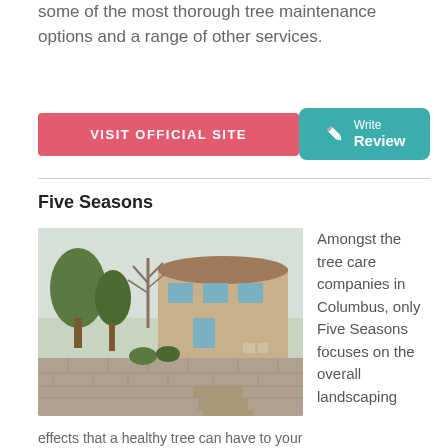some of the most thorough tree maintenance options and a range of other services.
VISIT OFFICIAL SITE
Write Review
Five Seasons
[Figure (photo): Exterior photo of a large two-story tan stucco house with trees and a stone retaining wall with steps in the foreground.]
Amongst the tree care companies in Columbus, only Five Seasons focuses on the overall landscaping
effects that a healthy tree can have to your